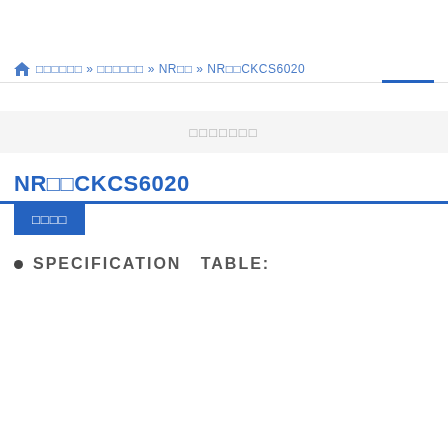🏠 □□□□□□ » □□□□□□ » NR□□ » NR□□CKCS6020
□□□□□□□
NR□□CKCS6020
□□□□
SPECIFICATION TABLE: